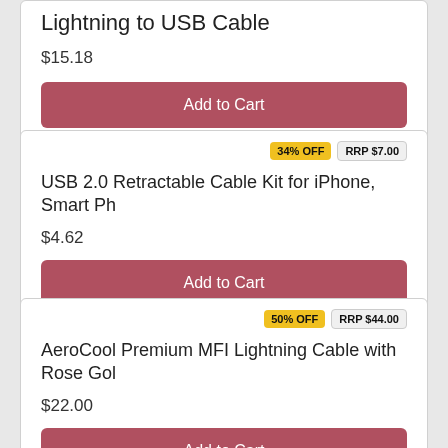Lightning to USB Cable
$15.18
Add to Cart
34% OFF   RRP $7.00
USB 2.0 Retractable Cable Kit for iPhone, Smart Ph
$4.62
Add to Cart
50% OFF   RRP $44.00
AeroCool Premium MFI Lightning Cable with Rose Gol
$22.00
Add to Cart